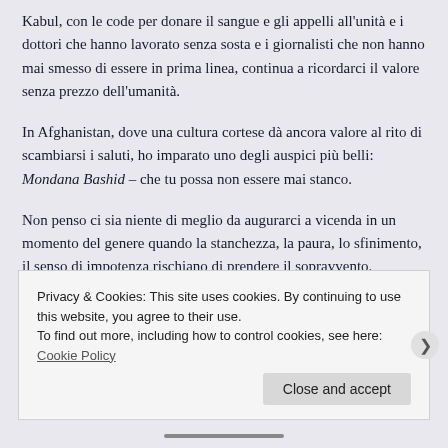Kabul, con le code per donare il sangue e gli appelli all'unità e i dottori che hanno lavorato senza sosta e i giornalisti che non hanno mai smesso di essere in prima linea, continua a ricordarci il valore senza prezzo dell'umanità.
In Afghanistan, dove una cultura cortese dà ancora valore al rito di scambiarsi i saluti, ho imparato uno degli auspici più belli: Mondana Bashid – che tu possa non essere mai stanco.
Non penso ci sia niente di meglio da augurarci a vicenda in un momento del genere quando la stanchezza, la paura, lo sfinimento, il senso di impotenza rischiano di prendere il sopravvento.
Mondana Bashid ai cittadini di Kabul, ai medici di emergency, ai miei amici
Privacy & Cookies: This site uses cookies. By continuing to use this website, you agree to their use.
To find out more, including how to control cookies, see here: Cookie Policy
Close and accept